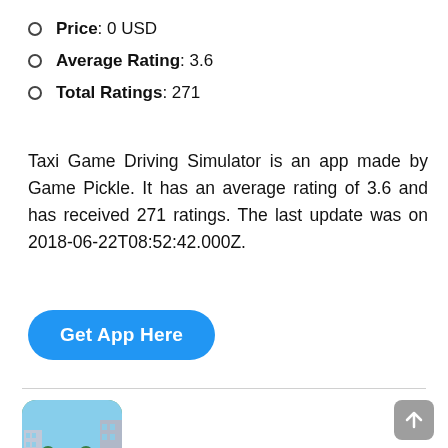Price: 0 USD
Average Rating: 3.6
Total Ratings: 271
Taxi Game Driving Simulator is an app made by Game Pickle. It has an average rating of 3.6 and has received 271 ratings. The last update was on 2018-06-22T08:52:42.000Z.
[Figure (other): Blue rounded button labeled 'Get App Here']
[Figure (illustration): App icon showing a yellow taxi car in a city street scene with buildings and trees]